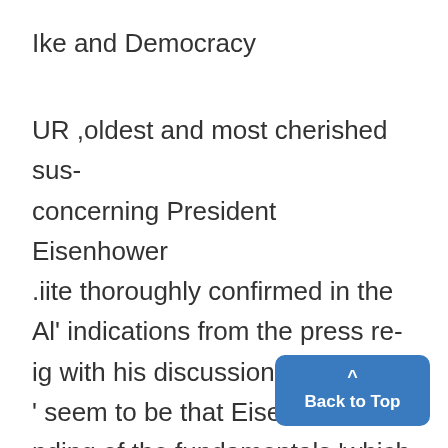Ike and Democracy
UR ,oldest and most cherished sus-
concerning President Eisenhower
.iite thoroughly confirmed in the
Al' indications from the press re-
ig with his discussions with Mar-
' seem to be that Eisenhower has
nding of the fundamentals 'which
he establishment of a democracy.
Eisenhower -recalls that he was
put to-it" to refute Zhukov's cla
Communism is "idealistic" while